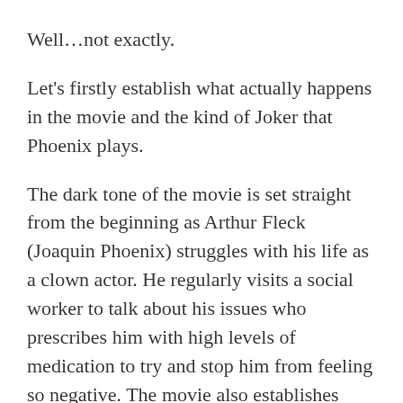Well…not exactly.
Let's firstly establish what actually happens in the movie and the kind of Joker that Phoenix plays.
The dark tone of the movie is set straight from the beginning as Arthur Fleck (Joaquin Phoenix) struggles with his life as a clown actor. He regularly visits a social worker to talk about his issues who prescribes him with high levels of medication to try and stop him from feeling so negative. The movie also establishes from the very beginning that Arthur has a medical condition that causes him to laugh uncontrollably at inappropriate times.